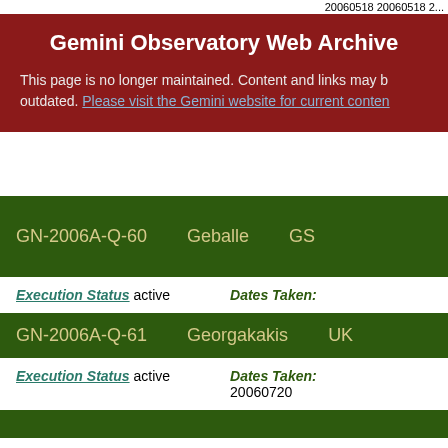20060518 20060518 2...
Gemini Observatory Web Archive
This page is no longer maintained. Content and links may b outdated. Please visit the Gemini website for current conten
| Program ID | PI | Partner |
| --- | --- | --- |
| GN-2006A-Q-60 | Geballe | GS |
| GN-2006A-Q-61 | Georgakakis | UK |
Execution Status active   Dates Taken:
Execution Status active   Dates Taken: 20060720